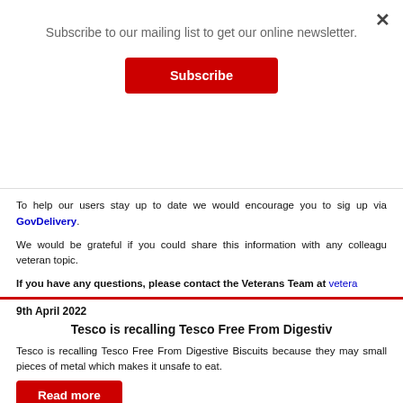Subscribe to our mailing list to get our online newsletter.
Subscribe
To help our users stay up to date we would encourage you to sign up via GovDelivery.
We would be grateful if you could share this information with any colleagues who may have an interest in a veteran topic.
If you have any questions, please contact the Veterans Team at vetera...
9th April 2022
Tesco is recalling Tesco Free From Digestive Biscuits
Tesco is recalling Tesco Free From Digestive Biscuits because they may contain small pieces of metal which makes it unsafe to eat.
Read more
Ferrero recalls a Selection Kinder Products
Ferrero is further extending their precautionary action of recalling a sele...